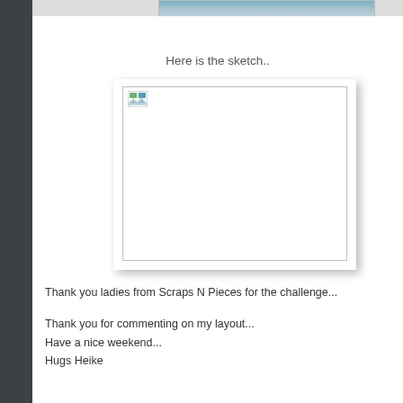[Figure (photo): Top partial image strip showing a landscape/photo at the top of the page]
Here is the sketch..
[Figure (photo): A broken/missing image placeholder box with a small broken image icon in the top-left corner, shown with a drop shadow]
Thank you ladies from Scraps N Pieces for the challenge...
Thank you for commenting on my layout...
Have a nice weekend...
Hugs Heike